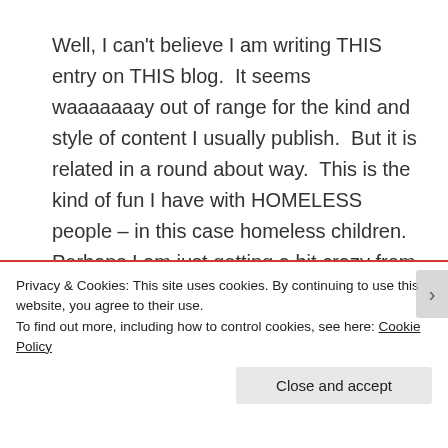Well, I can't believe I am writing THIS entry on THIS blog.  It seems waaaaaaay out of range for the kind and style of content I usually publish.  But it is related in a round about way.  This is the kind of fun I have with HOMELESS people – in this case homeless children.  Perhaps I am just getting a bit crazy from all the diaper changes!
Here's the thing: Since we started taking in
Privacy & Cookies: This site uses cookies. By continuing to use this website, you agree to their use.
To find out more, including how to control cookies, see here: Cookie Policy
Close and accept